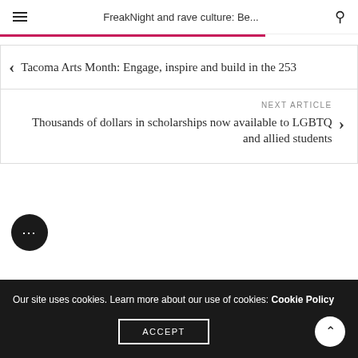FreakNight and rave culture: Be...
Tacoma Arts Month: Engage, inspire and build in the 253
NEXT ARTICLE
Thousands of dollars in scholarships now available to LGBTQ and allied students
Our site uses cookies. Learn more about our use of cookies: Cookie Policy
ACCEPT